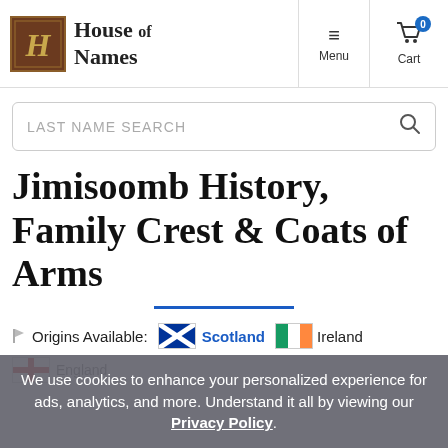House of Names — Menu | Cart (0)
LAST NAME SEARCH
Jimisoomb History, Family Crest & Coats of Arms
Origins Available: Scotland | Ireland | England
We use cookies to enhance your personalized experience for ads, analytics, and more. Understand it all by viewing our Privacy Policy.